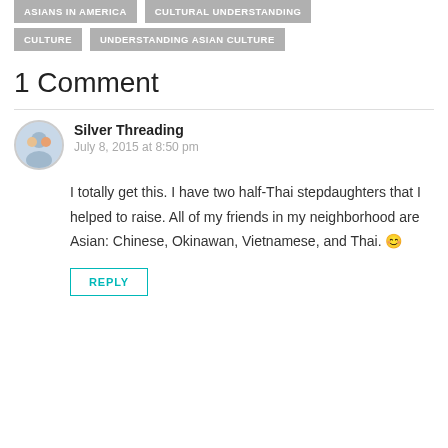CULTURE
UNDERSTANDING ASIAN CULTURE
1 Comment
Silver Threading
July 8, 2015 at 8:50 pm
I totally get this. I have two half-Thai stepdaughters that I helped to raise. All of my friends in my neighborhood are Asian: Chinese, Okinawan, Vietnamese, and Thai. 😊
REPLY